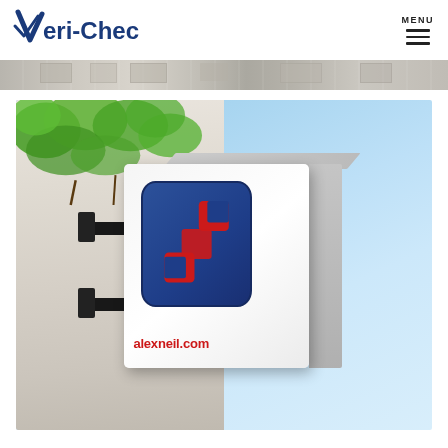[Figure (logo): Veri-Check logo with stylized V and text 'Veri-Check']
[Figure (other): Navigation menu icon with 'MENU' text and three horizontal lines]
[Figure (photo): Street-level banner photo strip showing building exterior]
[Figure (photo): Photo of an alexneil.com branded sign mounted on a white wall against blue sky, with green foliage in top-left corner]